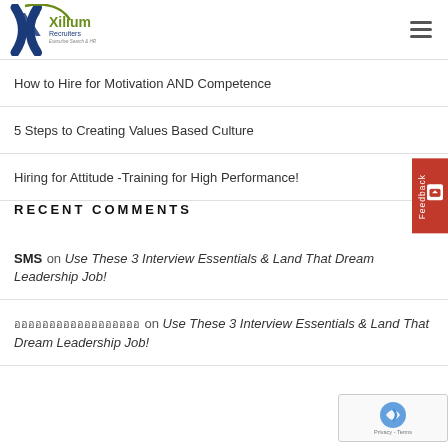[Figure (logo): Xilium Recruiters - Executive Search & HR logo with stylized X mark in blue and green]
How to Hire for Motivation AND Competence
5 Steps to Creating Values Based Culture
Hiring for Attitude -Training for High Performance!
RECENT COMMENTS
SMS on Use These 3 Interview Essentials & Land That Dream Leadership Job!
ออออออออออออออออออ on Use These 3 Interview Essentials & Land That Dream Leadership Job!